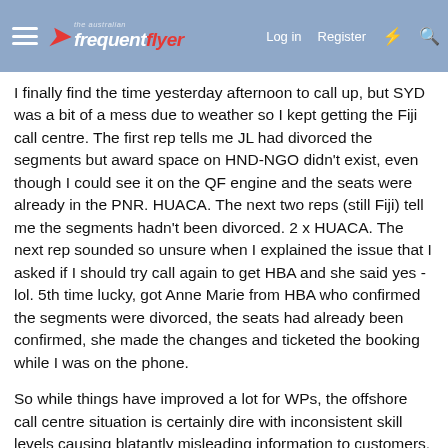the australian frequent flyer — Log in  Register
I finally find the time yesterday afternoon to call up, but SYD was a bit of a mess due to weather so I kept getting the Fiji call centre. The first rep tells me JL had divorced the segments but award space on HND-NGO didn't exist, even though I could see it on the QF engine and the seats were already in the PNR. HUACA. The next two reps (still Fiji) tell me the segments hadn't been divorced. 2 x HUACA. The next rep sounded so unsure when I explained the issue that I asked if I should try call again to get HBA and she said yes - lol. 5th time lucky, got Anne Marie from HBA who confirmed the segments were divorced, the seats had already been confirmed, she made the changes and ticketed the booking while I was on the phone.
So while things have improved a lot for WPs, the offshore call centre situation is certainly dire with inconsistent skill levels causing blatantly misleading information to customers. I genuinely feel for those who don't have status and have no choice but to deal with these centres.